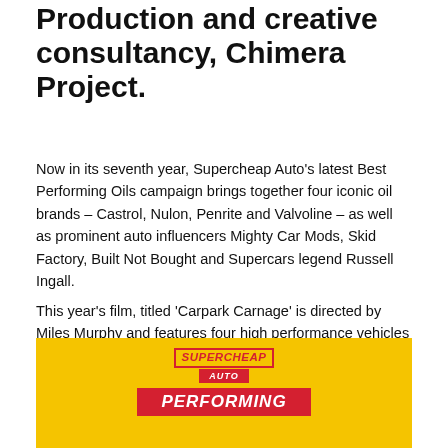Production and creative consultancy, Chimera Project.
Now in its seventh year, Supercheap Auto's latest Best Performing Oils campaign brings together four iconic oil brands – Castrol, Nulon, Penrite and Valvoline – as well as prominent auto influencers Mighty Car Mods, Skid Factory, Built Not Bought and Supercars legend Russell Ingall.
This year's film, titled 'Carpark Carnage' is directed by Miles Murphy and features four high performance vehicles competing for the ultimate prize – the last spot in a crowded shopping centre car park.
[Figure (logo): Supercheap Auto logo with 'SUPERCHEAP AUTO' text in red on yellow background, followed by 'PERFORMING' banner in white text on red background.]